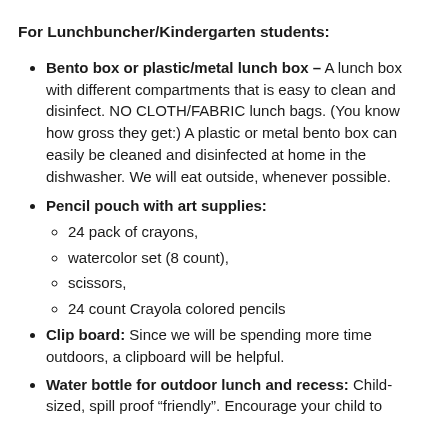For Lunchbuncher/Kindergarten students:
Bento box or plastic/metal lunch box – A lunch box with different compartments that is easy to clean and disinfect. NO CLOTH/FABRIC lunch bags. (You know how gross they get:) A plastic or metal bento box can easily be cleaned and disinfected at home in the dishwasher. We will eat outside, whenever possible.
Pencil pouch with art supplies:
24 pack of crayons,
watercolor set (8 count),
scissors,
24 count Crayola colored pencils
Clip board: Since we will be spending more time outdoors, a clipboard will be helpful.
Water bottle for outdoor lunch and recess: Child-sized, spill proof “friendly”. Encourage your child to